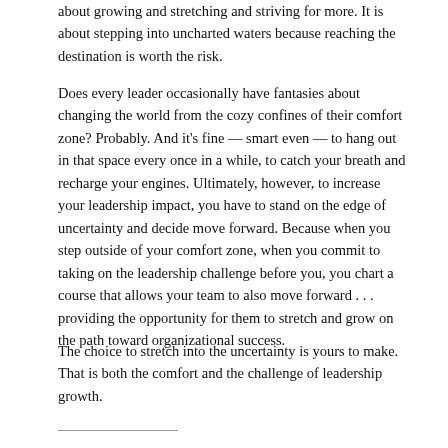about growing and stretching and striving for more. It is about stepping into uncharted waters because reaching the destination is worth the risk.
Does every leader occasionally have fantasies about changing the world from the cozy confines of their comfort zone? Probably. And it's fine — smart even — to hang out in that space every once in a while, to catch your breath and recharge your engines. Ultimately, however, to increase your leadership impact, you have to stand on the edge of uncertainty and decide move forward. Because when you step outside of your comfort zone, when you commit to taking on the leadership challenge before you, you chart a course that allows your team to also move forward . . . providing the opportunity for them to stretch and grow on the path toward organizational success.
The choice to stretch into the uncertainty is yours to make. That is both the comfort and the challenge of leadership growth.